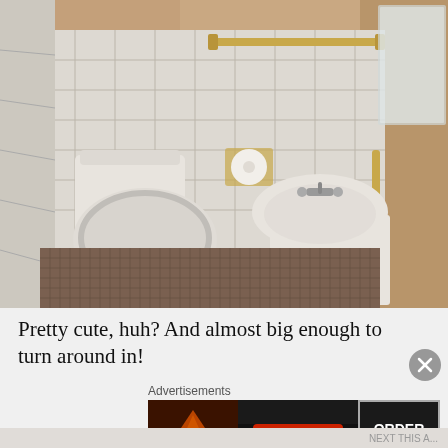[Figure (photo): Interior photo of a very small bathroom with white tiles on walls, a white toilet, a small pedestal sink with cabinet underneath, toilet paper holder, towel bar, and small mosaic tile floor. The bathroom is viewed from above at an angle.]
Pretty cute, huh? And almost big enough to turn around in!
Advertisements
[Figure (photo): Seamless food delivery advertisement banner showing pizza on the left, the Seamless logo in red in the center, and 'ORDER NOW' text on the right against a dark background.]